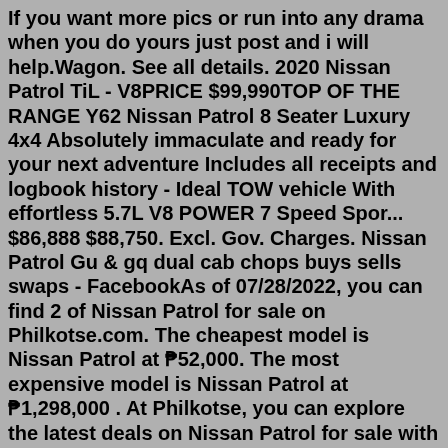If you want more pics or run into any drama when you do yours just post and i will help.Wagon. See all details. 2020 Nissan Patrol TiL - V8PRICE $99,990TOP OF THE RANGE Y62 Nissan Patrol 8 Seater Luxury 4x4 Absolutely immaculate and ready for your next adventure Includes all receipts and logbook history - Ideal TOW vehicle With effortless 5.7L V8 POWER 7 Speed Spor... $86,888 $88,750. Excl. Gov. Charges. Nissan Patrol Gu & gq dual cab chops buys sells swaps - FacebookAs of 07/28/2022, you can find 2 of Nissan Patrol for sale on Philkotse.com. The cheapest model is Nissan Patrol at ₱52,000. The most expensive model is Nissan Patrol at ₱1,298,000 . At Philkotse, you can explore the latest deals on Nissan Patrol for sale with images, features, specs, and prices. Phikotse offers buyers a lot of options. Please contact us for more information on this vehicle. +1 (616) 774-2640 / info@foxmotorsports.com------The Nissan Patrol is one of the oldest and longest running 4wd vehicles in the world. The first design came about in 1949-1950